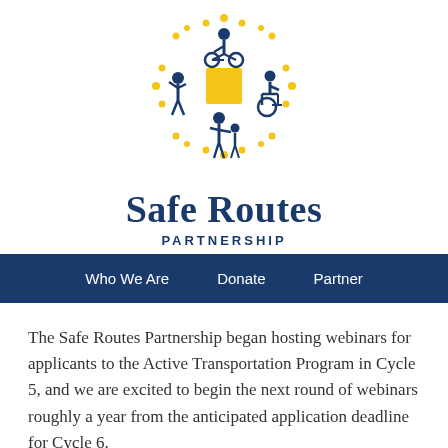[Figure (logo): Safe Routes Partnership logo with navy blue figures: cyclist on top, walking person on left, wheelchair user on right, adult walking with child on bottom, and a yellow square in the center surrounded by yellow dots/rays]
Safe Routes PARTNERSHIP
Who We Are   Donate   Partner
The Safe Routes Partnership began hosting webinars for applicants to the Active Transportation Program in Cycle 5, and we are excited to begin the next round of webinars roughly a year from the anticipated application deadline for Cycle 6.
Read more